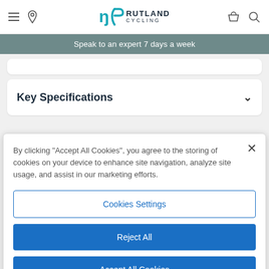Rutland Cycling - navigation bar with hamburger menu, location pin, logo, basket, and search icons
Speak to an expert 7 days a week
Key Specifications
By clicking "Accept All Cookies", you agree to the storing of cookies on your device to enhance site navigation, analyze site usage, and assist in our marketing efforts.
Cookies Settings
Reject All
Accept All Cookies